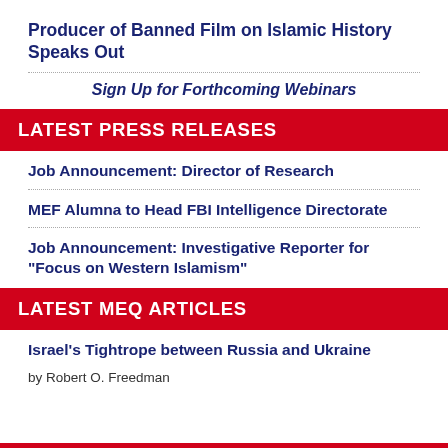Producer of Banned Film on Islamic History Speaks Out
Sign Up for Forthcoming Webinars
LATEST PRESS RELEASES
Job Announcement: Director of Research
MEF Alumna to Head FBI Intelligence Directorate
Job Announcement: Investigative Reporter for "Focus on Western Islamism"
LATEST MEQ ARTICLES
Israel's Tightrope between Russia and Ukraine
by Robert O. Freedman